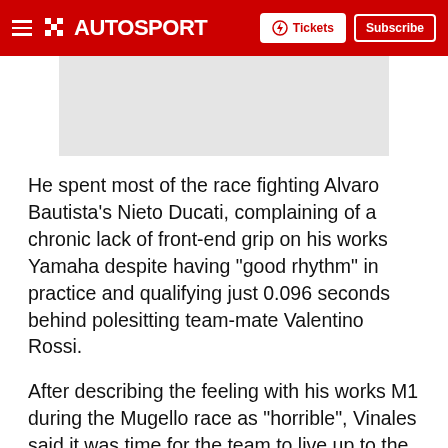AUTOSPORT — Tickets | Subscribe
[Figure (other): Advertisement placeholder banner, light grey background]
He spent most of the race fighting Alvaro Bautista's Nieto Ducati, complaining of a chronic lack of front-end grip on his works Yamaha despite having "good rhythm" in practice and qualifying just 0.096 seconds behind polesitting team-mate Valentino Rossi.
After describing the feeling with his works M1 during the Mugello race as "horrible", Vinales said it was time for the team to live up to the promise it made when he agreed a new two-year contract.
"When I signed with Yamaha, they promised me a bike to win," said Vinales. "It's time to show that the